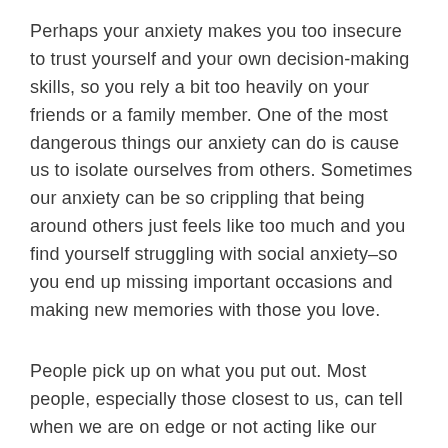Perhaps your anxiety makes you too insecure to trust yourself and your own decision-making skills, so you rely a bit too heavily on your friends or a family member. One of the most dangerous things our anxiety can do is cause us to isolate ourselves from others. Sometimes our anxiety can be so crippling that being around others just feels like too much and you find yourself struggling with social anxiety–so you end up missing important occasions and making new memories with those you love.
People pick up on what you put out. Most people, especially those closest to us, can tell when we are on edge or not acting like our usual selves. This can